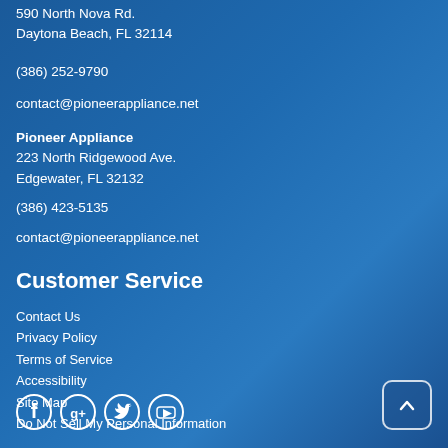590 North Nova Rd.
Daytona Beach, FL 32114
(386) 252-9790
contact@pioneerappliance.net
Pioneer Appliance
223 North Ridgewood Ave.
Edgewater, FL 32132
(386) 423-5135
contact@pioneerappliance.net
Customer Service
Contact Us
Privacy Policy
Terms of Service
Accessibility
Site Map
Do Not Sell My Personal Information
[Figure (other): Social media icons: Facebook, Google+, Twitter, YouTube]